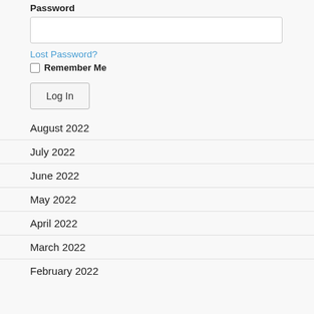Password
Lost Password?
Remember Me
Log In
August 2022
July 2022
June 2022
May 2022
April 2022
March 2022
February 2022